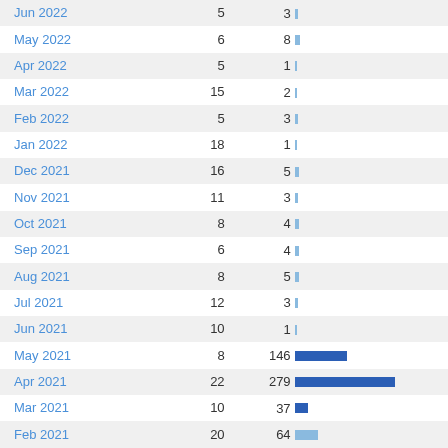| Month | Col2 | Col3 |
| --- | --- | --- |
| Jun 2022 | 5 | 3 |
| May 2022 | 6 | 8 |
| Apr 2022 | 5 | 1 |
| Mar 2022 | 15 | 2 |
| Feb 2022 | 5 | 3 |
| Jan 2022 | 18 | 1 |
| Dec 2021 | 16 | 5 |
| Nov 2021 | 11 | 3 |
| Oct 2021 | 8 | 4 |
| Sep 2021 | 6 | 4 |
| Aug 2021 | 8 | 5 |
| Jul 2021 | 12 | 3 |
| Jun 2021 | 10 | 1 |
| May 2021 | 8 | 146 |
| Apr 2021 | 22 | 279 |
| Mar 2021 | 10 | 37 |
| Feb 2021 | 20 | 64 |